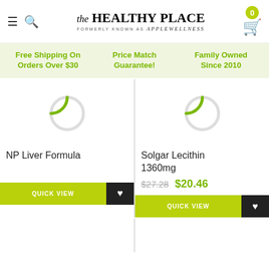[Figure (logo): The Healthy Place logo with search icon, hamburger menu, and cart with badge showing 0]
Free Shipping On Orders Over $30
Price Match Guarantee!
Family Owned Since 2010
[Figure (photo): Product card: NP Liver Formula with loading spinner, Quick View button, and heart/wishlist button]
[Figure (photo): Product card: Solgar Lecithin 1360mg with loading spinner, price $27.28 crossed out and $20.46, Quick View button, and heart/wishlist button]